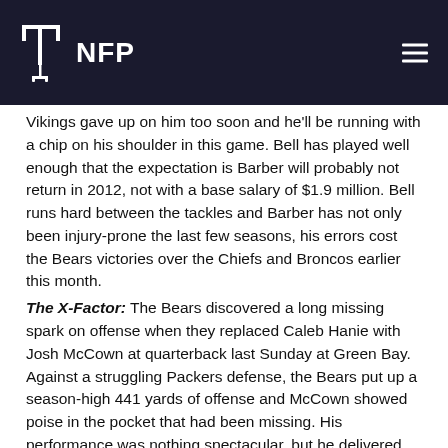NFP
Vikings gave up on him too soon and he'll be running with a chip on his shoulder in this game. Bell has played well enough that the expectation is Barber will probably not return in 2012, not with a base salary of $1.9 million. Bell runs hard between the tackles and Barber has not only been injury-prone the last few seasons, his errors cost the Bears victories over the Chiefs and Broncos earlier this month.
The X-Factor: The Bears discovered a long missing spark on offense when they replaced Caleb Hanie with Josh McCown at quarterback last Sunday at Green Bay. Against a struggling Packers defense, the Bears put up a season-high 441 yards of offense and McCown showed poise in the pocket that had been missing. His performance was nothing spectacular, but he delivered the ball on time and the Bears were able to move the ball. Things had been so erratic under